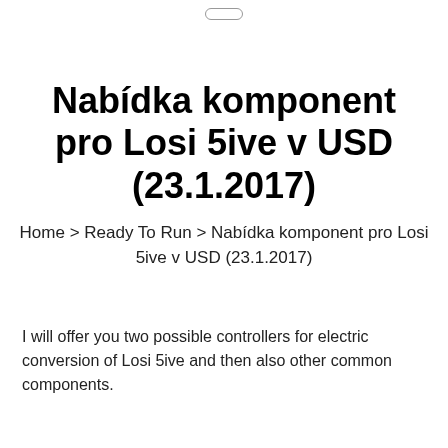Nabídka komponent pro Losi 5ive v USD (23.1.2017)
Home > Ready To Run > Nabídka komponent pro Losi 5ive v USD (23.1.2017)
I will offer you two possible controllers for electric conversion of Losi 5ive and then also other common components.